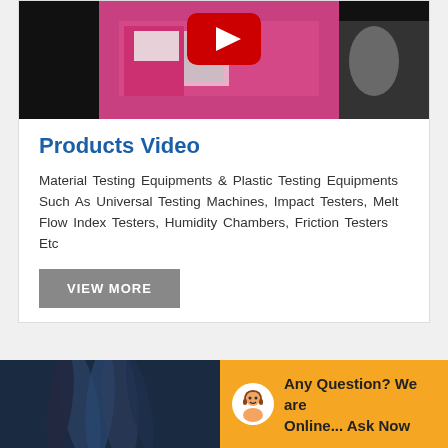[Figure (screenshot): Video thumbnail showing a pink/magenta material testing machine with YouTube play button overlay, on dark background]
Products Video
Material Testing Equipments & Plastic Testing Equipments Such As Universal Testing Machines, Impact Testers, Melt Flow Index Testers, Humidity Chambers, Friction Testers Etc
VIEW MORE
[Figure (photo): Dark blue/grey abstract image, possibly close-up of material or machine component]
Any Question? We are Online... Ask Now